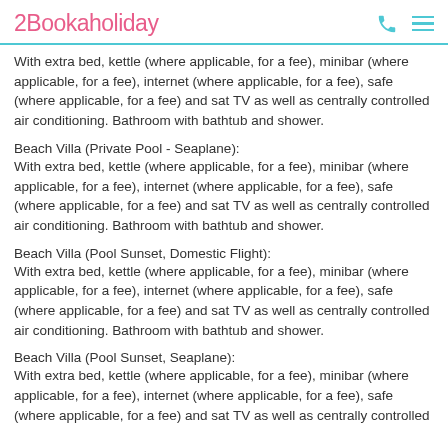2Bookaholiday
With extra bed, kettle (where applicable, for a fee), minibar (where applicable, for a fee), internet (where applicable, for a fee), safe (where applicable, for a fee) and sat TV as well as centrally controlled air conditioning. Bathroom with bathtub and shower.
Beach Villa (Private Pool - Seaplane):
With extra bed, kettle (where applicable, for a fee), minibar (where applicable, for a fee), internet (where applicable, for a fee), safe (where applicable, for a fee) and sat TV as well as centrally controlled air conditioning. Bathroom with bathtub and shower.
Beach Villa (Pool Sunset, Domestic Flight):
With extra bed, kettle (where applicable, for a fee), minibar (where applicable, for a fee), internet (where applicable, for a fee), safe (where applicable, for a fee) and sat TV as well as centrally controlled air conditioning. Bathroom with bathtub and shower.
Beach Villa (Pool Sunset, Seaplane):
With extra bed, kettle (where applicable, for a fee), minibar (where applicable, for a fee), internet (where applicable, for a fee), safe (where applicable, for a fee) and sat TV as well as centrally controlled air conditioning. Bathroom with bathtub and shower.